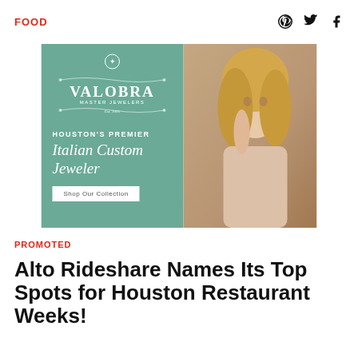FOOD
[Figure (illustration): Valobra Master Jewelers advertisement banner. Left teal panel: Valobra logo with crest, text 'HOUSTON'S PREMIER Italian Custom Jeweler', and 'Shop Our Collection' button. Right panel: photo of a blonde woman wearing jewelry.]
PROMOTED
Alto Rideshare Names Its Top Spots for Houston Restaurant Weeks!